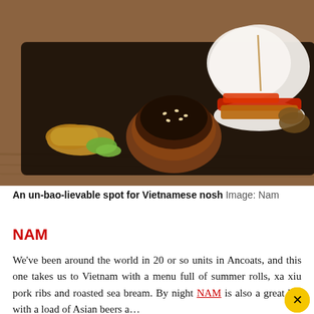[Figure (photo): A dark serving board with Vietnamese food: spring rolls with lettuce, a bowl of dipping sauce with sesame seeds, a bao bun filled with red peppers and grilled meat, on a wooden table background.]
An un-bao-lievable spot for Vietnamese nosh Image: Nam
NAM
We've been around the world in 20 or so units in Ancoats, and this one takes us to Vietnam with a menu full of summer rolls, xa xiu pork ribs and roasted sea bream. By night NAM is also a great bar with a load of Asian beers a...